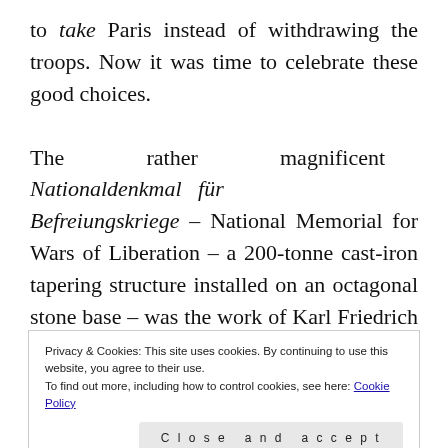to take Paris instead of withdrawing the troops. Now it was time to celebrate these good choices.
The rather magnificent Nationaldenkmal für Befreiungskriege – National Memorial for Wars of Liberation – a 200-tonne cast-iron tapering structure installed on an octagonal stone base – was the work of Karl Friedrich Schinkel and Johann Heinrich Strack (who was responsible for the stone base). Originally planned as a neo-gothic cathedral to be erected on
Privacy & Cookies: This site uses cookies. By continuing to use this website, you agree to their use.
To find out more, including how to control cookies, see here: Cookie Policy
Close and accept
kilometres south – to a sandy hill on the northern